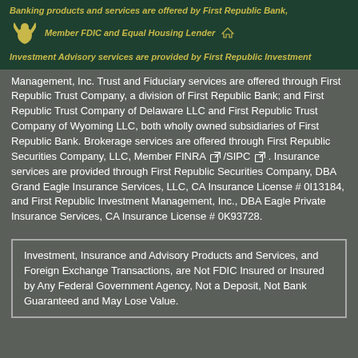Banking products and services are offered by First Republic Bank, Member FDIC and Equal Housing Lender
Investment Advisory services are provided by First Republic Investment Management, Inc.
Management, Inc. Trust and Fiduciary services are offered through First Republic Trust Company, a division of First Republic Bank; and First Republic Trust Company of Delaware LLC and First Republic Trust Company of Wyoming LLC, both wholly owned subsidiaries of First Republic Bank. Brokerage services are offered through First Republic Securities Company, LLC, Member FINRA /SIPC . Insurance services are provided through First Republic Securities Company, DBA Grand Eagle Insurance Services, LLC, CA Insurance License # 0I13184, and First Republic Investment Management, Inc., DBA Eagle Private Insurance Services, CA Insurance License # 0K93728.
Investment, Insurance and Advisory Products and Services, and Foreign Exchange Transactions, are Not FDIC Insured or Insured by Any Federal Government Agency, Not a Deposit, Not Bank Guaranteed and May Lose Value.